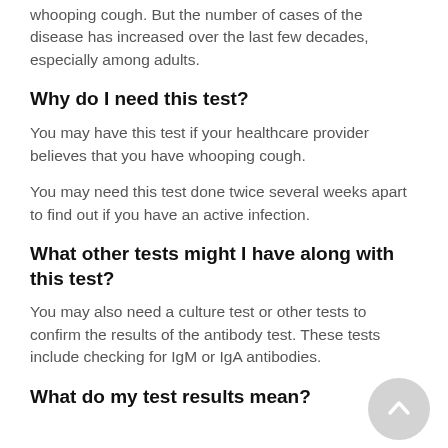whooping cough. But the number of cases of the disease has increased over the last few decades, especially among adults.
Why do I need this test?
You may have this test if your healthcare provider believes that you have whooping cough.
You may need this test done twice several weeks apart to find out if you have an active infection.
What other tests might I have along with this test?
You may also need a culture test or other tests to confirm the results of the antibody test. These tests include checking for IgM or IgA antibodies.
What do my test results mean?